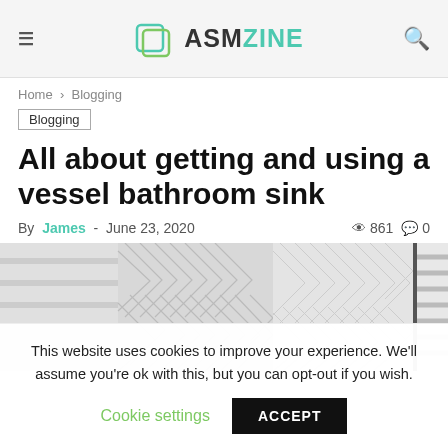≡  ASM ZINE  🔍
Home › Blogging
Blogging
All about getting and using a vessel bathroom sink
By James - June 23, 2020   👁 861  💬 0
[Figure (photo): Herringbone tile pattern on bathroom wall, grey tones, with striped towel on right side]
This website uses cookies to improve your experience. We'll assume you're ok with this, but you can opt-out if you wish.
Cookie settings   ACCEPT